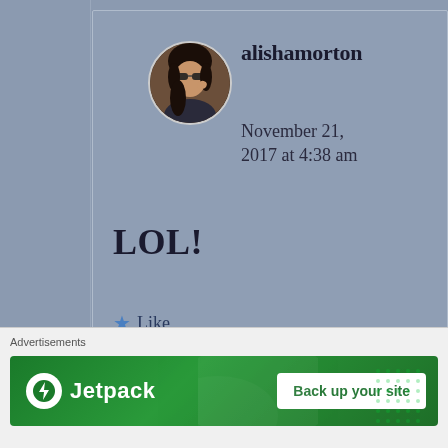[Figure (screenshot): Blog comment section showing a user avatar (circular photo of a woman with sunglasses), username 'alishamorton', date 'November 21, 2017 at 4:38 am', comment text 'LOL!', a Like button with star icon, and a partially visible Reply button. Below is an advertisement bar with 'Advertisements' label and a Jetpack green banner with 'Back up your site' button and an X close button.]
alishamorton
November 21, 2017 at 4:38 am
LOL!
Like
Reply
Advertisements
Jetpack
Back up your site